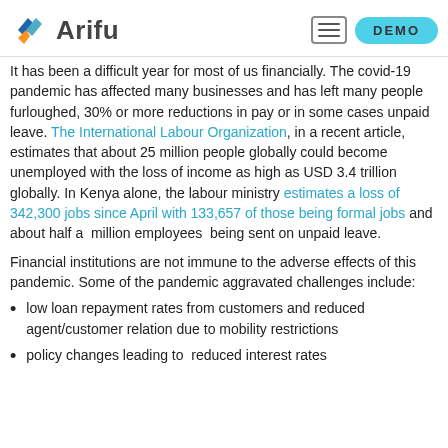Arifu | DEMO
It has been a difficult year for most of us financially. The covid-19 pandemic has affected many businesses and has left many people furloughed, 30% or more reductions in pay or in some cases unpaid leave. The International Labour Organization, in a recent article, estimates that about 25 million people globally could become unemployed with the loss of income as high as USD 3.4 trillion globally. In Kenya alone, the labour ministry estimates a loss of 342,300 jobs since April with 133,657 of those being formal jobs and about half a million employees being sent on unpaid leave.
Financial institutions are not immune to the adverse effects of this pandemic. Some of the pandemic aggravated challenges include:
low loan repayment rates from customers and reduced agent/customer relation due to mobility restrictions
policy changes leading to reduced interest rates